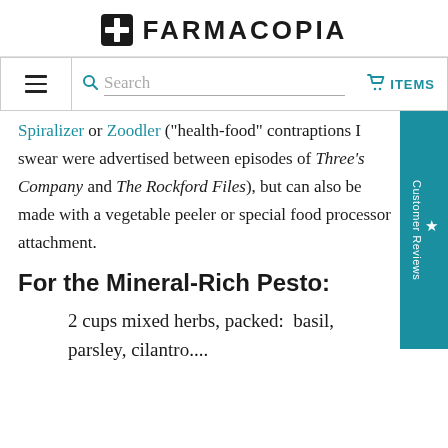FARMACOPIA
Spiralizer or Zoodler ("health-food" contraptions I swear were advertised between episodes of Three's Company and The Rockford Files), but can also be made with a vegetable peeler or special food processor attachment.
For the Mineral-Rich Pesto:
2 cups mixed herbs, packed:  basil, parsley, cilantro....